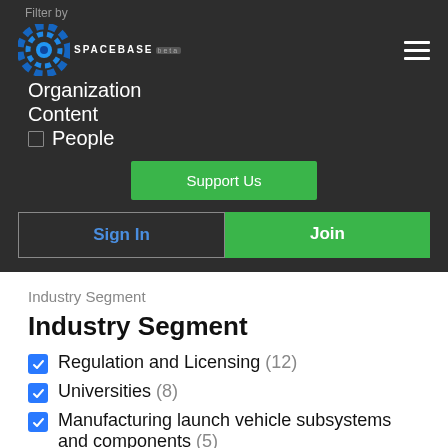Filter by
[Figure (logo): Spacebase logo - blue circular gear/dot pattern with SPACEBASE text in white below]
Organization
Content
People
Support Us
Sign In
Join
Industry Segment
Industry Segment
Regulation and Licensing (12)
Universities (8)
Manufacturing launch vehicle subsystems and components (5)
Launch Providers (3)